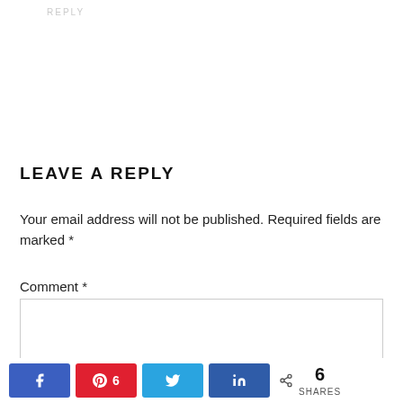oooh and daaah over them!
REPLY
LEAVE A REPLY
Your email address will not be published. Required fields are marked *
Comment *